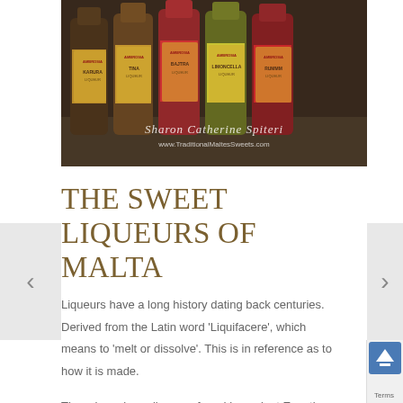[Figure (photo): Photo of multiple Ambrosia brand liqueur bottles in a row, including flavors such as Bajtra (fig), Limoncella (lemon), and others, displayed in plastic packaging. Watermark reads 'Sharon Catherine Spiteri' and 'www.TraditionalMaltesSweets.com']
THE SWEET LIQUEURS OF MALTA
Liqueurs have a long history dating back centuries. Derived from the Latin word 'Liquifacere', which means to 'melt or dissolve'. This is in reference as to how it is made.
There have been liqueurs found in ancient Egyptian tombs and have also been